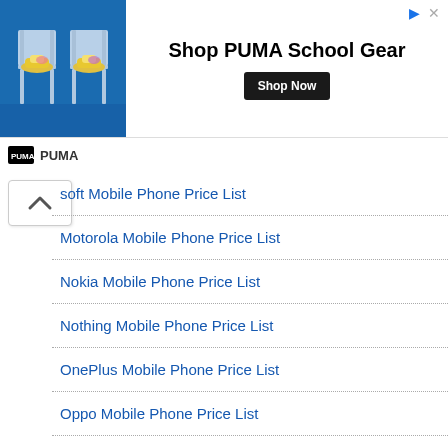[Figure (photo): PUMA advertisement banner showing school chairs with sneakers and text 'Shop PUMA School Gear' with a 'Shop Now' button. PUMA logo at bottom left of ad.]
soft Mobile Phone Price List
Motorola Mobile Phone Price List
Nokia Mobile Phone Price List
Nothing Mobile Phone Price List
OnePlus Mobile Phone Price List
Oppo Mobile Phone Price List
Panasonic Mobile Phone Price List
realme Mobile Phone Price List
Samsung Mobile Phone Price List
Sony Mobile Phone Price List
TCL Mobile Phone Price List